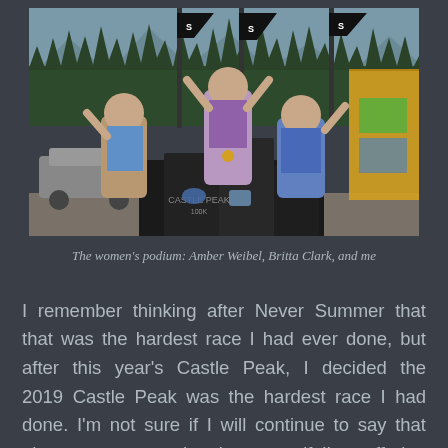[Figure (photo): Women's podium at Castle Peak race. Three women standing on a black podium structure outdoors. Salomon branded banners/flags visible. A car parked on the left, a yellow merchandise tent on the right, pine trees and mountains in the background.]
The women's podium: Amber Weibel, Britta Clark, and me
I remember thinking after Never Summer that that was the hardest race I had ever done, but after this year's Castle Peak, I decided the 2019 Castle Peak was the hardest race I had done. I'm not sure if I will continue to say that about every race that I run, as if I'm suffering from some form of ultra-amnesia. I